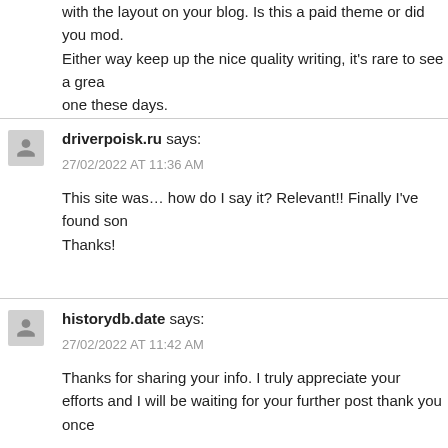with the layout on your blog. Is this a paid theme or did you mod. Either way keep up the nice quality writing, it's rare to see a great one these days.
driverpoisk.ru says:
27/02/2022 AT 11:36 AM
This site was… how do I say it? Relevant!! Finally I've found som. Thanks!
historydb.date says:
27/02/2022 AT 11:42 AM
Thanks for sharing your info. I truly appreciate your efforts and I will be waiting for your further post thank you once